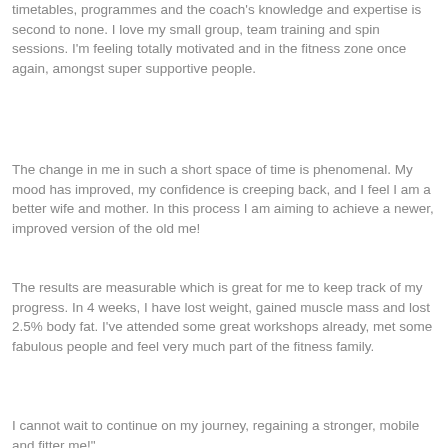timetables, programmes and the coach's knowledge and expertise is second to none. I love my small group, team training and spin sessions. I'm feeling totally motivated and in the fitness zone once again, amongst super supportive people.
The change in me in such a short space of time is phenomenal. My mood has improved, my confidence is creeping back, and I feel I am a better wife and mother. In this process I am aiming to achieve a newer, improved version of the old me!
The results are measurable which is great for me to keep track of my progress. In 4 weeks, I have lost weight, gained muscle mass and lost 2.5% body fat. I've attended some great workshops already, met some fabulous people and feel very much part of the fitness family.
I cannot wait to continue on my journey, regaining a stronger, mobile and fitter me!"